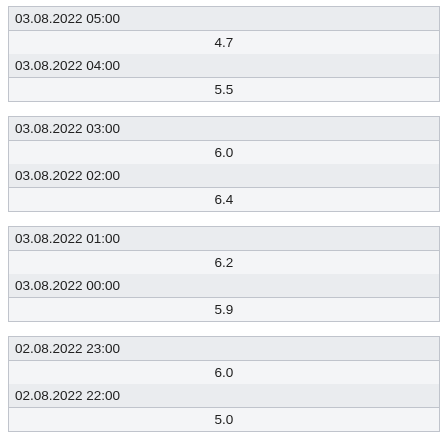| 03.08.2022 05:00 |
| 4.7 |
| 03.08.2022 04:00 |
| 5.5 |
| 03.08.2022 03:00 |
| 6.0 |
| 03.08.2022 02:00 |
| 6.4 |
| 03.08.2022 01:00 |
| 6.2 |
| 03.08.2022 00:00 |
| 5.9 |
| 02.08.2022 23:00 |
| 6.0 |
| 02.08.2022 22:00 |
| 5.0 |